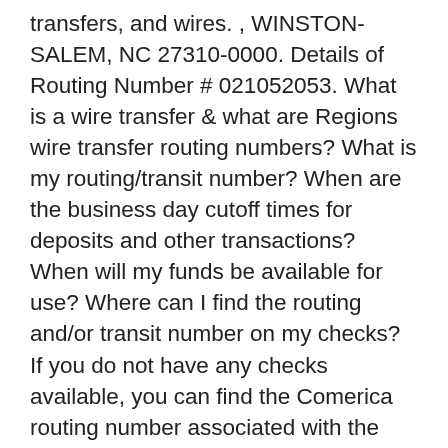transfers, and wires. , WINSTON-SALEM, NC 27310-0000. Details of Routing Number # 021052053. What is a wire transfer & what are Regions wire transfer routing numbers? What is my routing/transit number? When are the business day cutoff times for deposits and other transactions? When will my funds be available for use? Where can I find the routing and/or transit number on my checks? If you do not have any checks available, you can find the Comerica routing number associated with the state where you opened your account in the table below. If your member number is less than 6 digits, add more zeroes to the front to make it a total of 10 digits. Beneficiary Bank Name